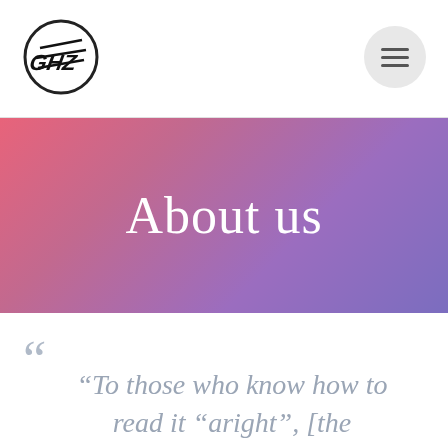[Logo and navigation menu]
About us
“To those who know how to read it “aright”, [the